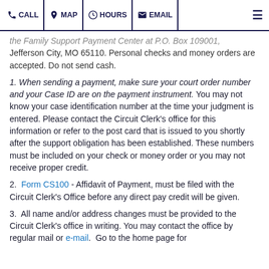CALL | MAP | HOURS | EMAIL
the Family Support Payment Center at P.O. Box 109001, Jefferson City, MO 65110. Personal checks and money orders are accepted. Do not send cash.
1. When sending a payment, make sure your court order number and your Case ID are on the payment instrument. You may not know your case identification number at the time your judgment is entered. Please contact the Circuit Clerk's office for this information or refer to the post card that is issued to you shortly after the support obligation has been established. These numbers must be included on your check or money order or you may not receive proper credit.
2. Form CS100 - Affidavit of Payment, must be filed with the Circuit Clerk's Office before any direct pay credit will be given.
3. All name and/or address changes must be provided to the Circuit Clerk's office in writing. You may contact the office by regular mail or e-mail. Go to the home page for